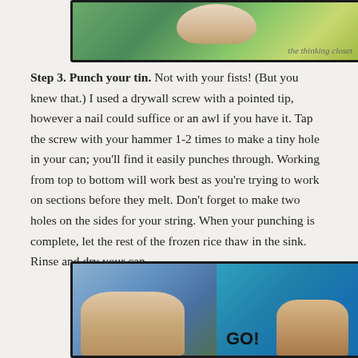[Figure (photo): Top photo showing hands working on a tin can on a green surface, with 'the thinking closet' watermark in the lower right corner.]
Step 3. Punch your tin. Not with your fists! (But you knew that.) I used a drywall screw with a pointed tip, however a nail could suffice or an awl if you have it. Tap the screw with your hammer 1-2 times to make a tiny hole in your can; you'll find it easily punches through. Working from top to bottom will work best as you're trying to work on sections before they melt. Don't forget to make two holes on the sides for your string. When your punching is complete, let the rest of the frozen rice thaw in the sink. Rinse and dry your can.
[Figure (photo): Bottom photo split into two panels showing hands punching holes in a tin can, one panel on a green surface and one on a blue surface with text partially visible.]